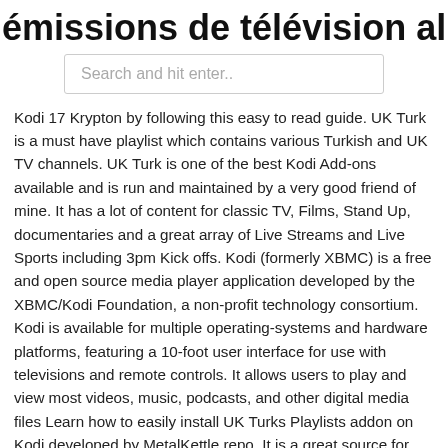émissions de télévision allemandes
Search and hit enter..
Kodi 17 Krypton by following this easy to read guide. UK Turk is a must have playlist which contains various Turkish and UK TV channels. UK Turk is one of the best Kodi Add-ons available and is run and maintained by a very good friend of mine. It has a lot of content for classic TV, Films, Stand Up, documentaries and a great array of Live Streams and Live Sports including 3pm Kick offs. Kodi (formerly XBMC) is a free and open source media player application developed by the XBMC/Kodi Foundation, a non-profit technology consortium. Kodi is available for multiple operating-systems and hardware platforms, featuring a 10-foot user interface for use with televisions and remote controls. It allows users to play and view most videos, music, podcasts, and other digital media files Learn how to easily install UK Turks Playlists addon on Kodi developed by MetalKettle repo. It is a great source for watching live sports, TV shows, Live TV channels, Movies and various other entertainment stuff. Now you can easily explore each and everything regarding UK Turk's playlists here on